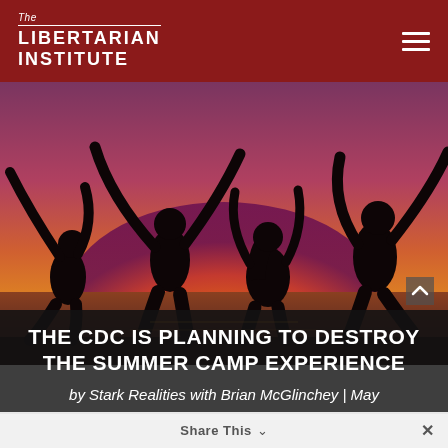The Libertarian Institute
[Figure (photo): Silhouettes of four young people jumping with arms raised against a sunset sky with purple, pink, and orange tones over water]
THE CDC IS PLANNING TO DESTROY THE SUMMER CAMP EXPERIENCE
by Stark Realities with Brian McGlinchey | May
Share This